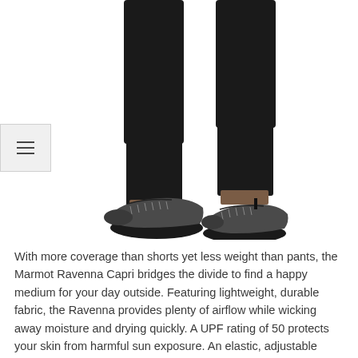[Figure (photo): Close-up photo of a person's lower legs wearing black capri pants and dark grey/charcoal hiking shoes with laces, standing against a white background.]
With more coverage than shorts yet less weight than pants, the Marmot Ravenna Capri bridges the divide to find a happy medium for your day outside. Featuring lightweight, durable fabric, the Ravenna provides plenty of airflow while wicking away moisture and drying quickly. A UPF rating of 50 protects your skin from harmful sun exposure. An elastic, adjustable waistband secures a customized fit while integrated stretch maintains your freedom of motion for big moves and scrambles.